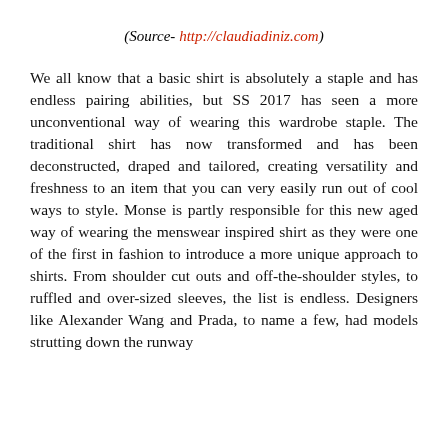(Source- http://claudiadiniz.com)
We all know that a basic shirt is absolutely a staple and has endless pairing abilities, but SS 2017 has seen a more unconventional way of wearing this wardrobe staple. The traditional shirt has now transformed and has been deconstructed, draped and tailored, creating versatility and freshness to an item that you can very easily run out of cool ways to style. Monse is partly responsible for this new aged way of wearing the menswear inspired shirt as they were one of the first in fashion to introduce a more unique approach to shirts. From shoulder cut outs and off-the-shoulder styles, to ruffled and over-sized sleeves, the list is endless. Designers like Alexander Wang and Prada, to name a few, had models strutting down the runway